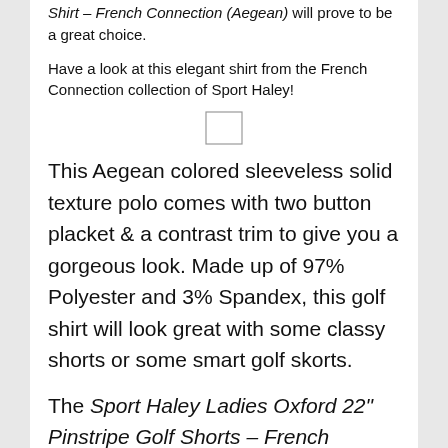Shirt – French Connection (Aegean) will prove to be a great choice.
Have a look at this elegant shirt from the French Connection collection of Sport Haley!
[Figure (other): Small blank/placeholder image box]
This Aegean colored sleeveless solid texture polo comes with two button placket & a contrast trim to give you a gorgeous look. Made up of 97% Polyester and 3% Spandex, this golf shirt will look great with some classy shorts or some smart golf skorts.
The Sport Haley Ladies Oxford 22" Pinstripe Golf Shorts – French Connection (Aegean) depicted below would look great with the above mentioned golf shirt. In fact, these pinstripe